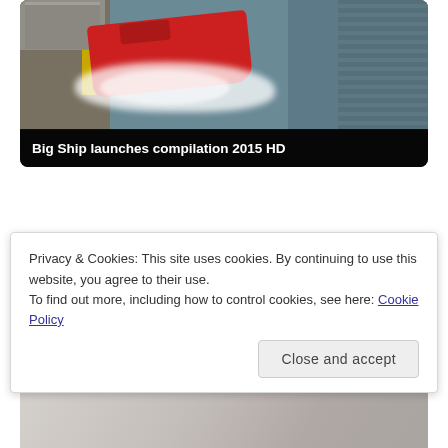[Figure (photo): Aerial view of a large red ship being launched into water at a shipyard, with white splash/wake visible, docks and warehouse buildings on the left, water on the right. Title bar at bottom reads 'Big Ship launches compilation 2015 HD'.]
Big Ship launches compilation 2015 HD
[Figure (photo): Partial view of another video thumbnail, partially obscured by cookie notice overlay.]
Privacy & Cookies: This site uses cookies. By continuing to use this website, you agree to their use.
To find out more, including how to control cookies, see here: Cookie Policy
[Figure (photo): Bottom partial image strip of another video thumbnail, partially visible at the bottom of the page.]